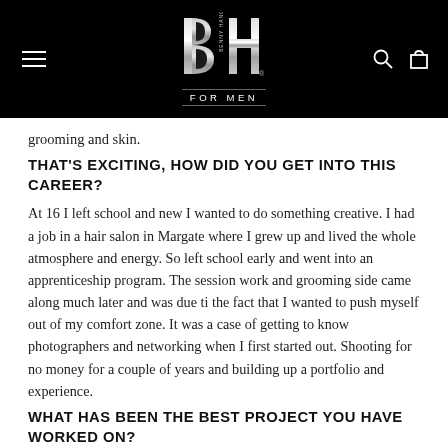[Figure (logo): Benny Hancock For Men logo — stylized BH letters in silver on black background with 'FOR MEN' text below]
grooming and skin.
THAT'S EXCITING, HOW DID YOU GET INTO THIS CAREER?
At 16 I left school and new I wanted to do something creative. I had a job in a hair salon in Margate where I grew up and lived the whole atmosphere and energy. So left school early and went into an apprenticeship program. The session work and grooming side came along much later and was due ti the fact that I wanted to push myself out of my comfort zone. It was a case of getting to know photographers and networking when I first started out. Shooting for no money for a couple of years and building up a portfolio and experience.
WHAT HAS BEEN THE BEST PROJECT YOU HAVE WORKED ON?
Wow tough one to answer but there have been so many over the